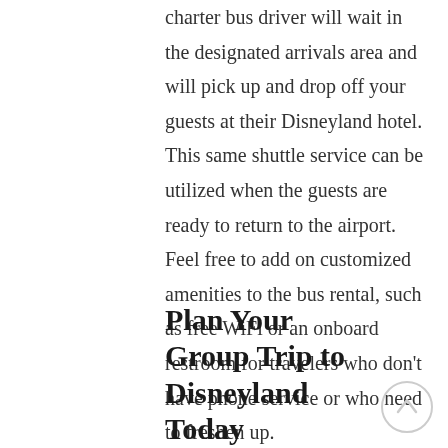charter bus driver will wait in the designated arrivals area and will pick up and drop off your guests at their Disneyland hotel. This same shuttle service can be utilized when the guests are ready to return to the airport. Feel free to add on customized amenities to the bus rental, such as free WiFi or an onboard restroom for travelers who don't have phone service or who need to freshen up.
Plan Your Group Trip to Disneyland Today